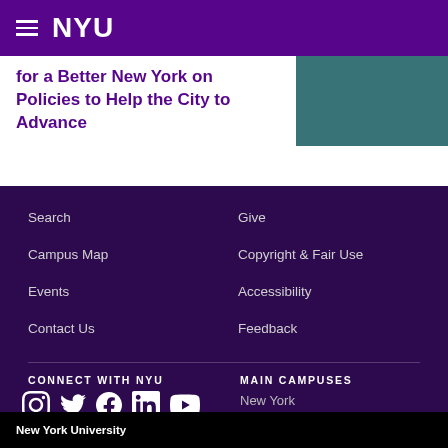NYU | COVID-19 Info
for a Better New York on Policies to Help the City to Advance
Search
Campus Map
Events
Contact Us
Give
Copyright & Fair Use
Accessibility
Feedback
CONNECT WITH NYU
MAIN CAMPUSES
New York
Abu Dhabi
Shanghai
New York University